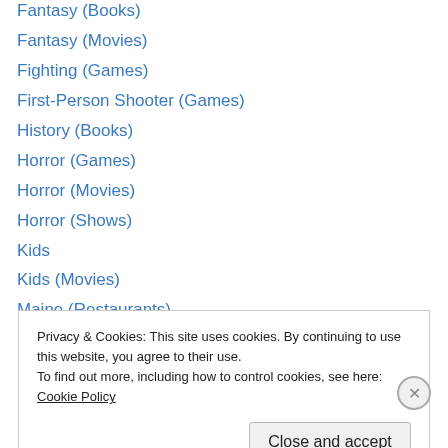Fantasy (Books)
Fantasy (Movies)
Fighting (Games)
First-Person Shooter (Games)
History (Books)
Horror (Games)
Horror (Movies)
Horror (Shows)
Kids
Kids (Movies)
Maine (Restaurants)
Martial Arts (Movies)
Massive Multiplayer Online (Games)
Movie Reviews
Privacy & Cookies: This site uses cookies. By continuing to use this website, you agree to their use.
To find out more, including how to control cookies, see here: Cookie Policy
Close and accept